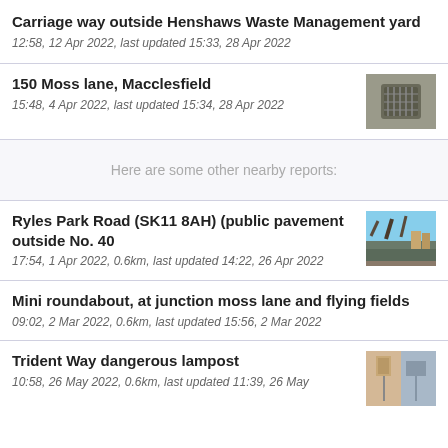Carriage way outside Henshaws Waste Management yard
12:58, 12 Apr 2022, last updated 15:33, 28 Apr 2022
150 Moss lane, Macclesfield
15:48, 4 Apr 2022, last updated 15:34, 28 Apr 2022
Here are some other nearby reports:
Ryles Park Road (SK11 8AH) (public pavement outside No. 40
17:54, 1 Apr 2022, 0.6km, last updated 14:22, 26 Apr 2022
Mini roundabout, at junction moss lane and flying fields
09:02, 2 Mar 2022, 0.6km, last updated 15:56, 2 Mar 2022
Trident Way dangerous lampost
10:58, 26 May 2022, 0.6km, last updated 11:39, 26 May